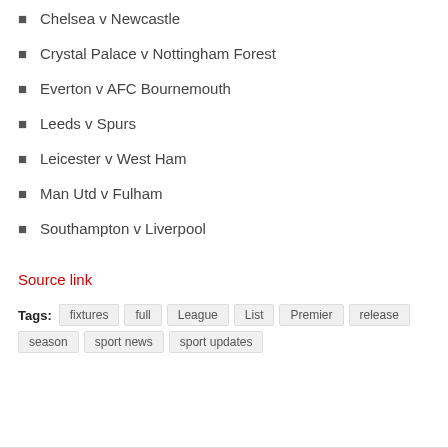Chelsea v Newcastle
Crystal Palace v Nottingham Forest
Everton v AFC Bournemouth
Leeds v Spurs
Leicester v West Ham
Man Utd v Fulham
Southampton v Liverpool
Source link
Tags: fixtures full League List Premier release season sport news sport updates